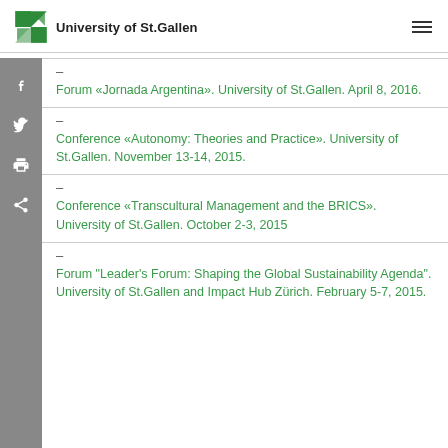University of St.Gallen
Forum «Jornada Argentina». University of St.Gallen. April 8, 2016.
Conference «Autonomy: Theories and Practice». University of St.Gallen. November 13-14, 2015.
Conference «Transcultural Management and the BRICS». University of St.Gallen. October 2-3, 2015
Forum "Leader's Forum: Shaping the Global Sustainability Agenda". University of St.Gallen and Impact Hub Zürich. February 5-7, 2015.